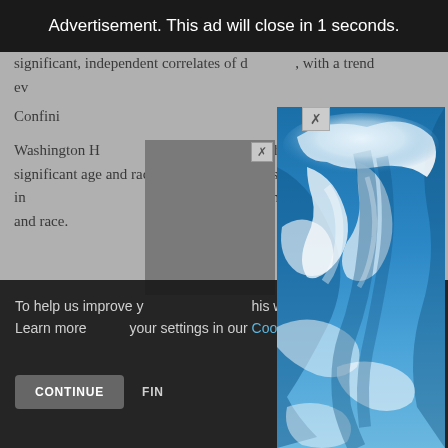Advertisement. This ad will close in 1 seconds.
significant, independent correlates of dementia, with a trend ev... ...of northern Manhattan, the ...with significant age and race eff... ...hemie stroke significantly in... ...a, with independent co... ...on, and race.
[Figure (photo): Sky photo advertisement overlay showing blue sky with white clouds swirling]
To help us improve y... ...his website uses cookies. Learn more... ...your settings in our Cookie Policy. You ca...
CONTINUE
FIN...